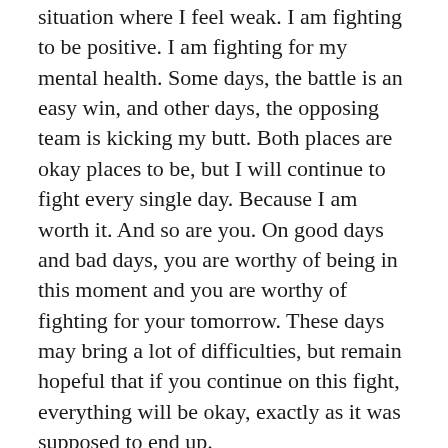situation where I feel weak. I am fighting to be positive. I am fighting for my mental health. Some days, the battle is an easy win, and other days, the opposing team is kicking my butt. Both places are okay places to be, but I will continue to fight every single day. Because I am worth it. And so are you. On good days and bad days, you are worthy of being in this moment and you are worthy of fighting for your tomorrow. These days may bring a lot of difficulties, but remain hopeful that if you continue on this fight, everything will be okay, exactly as it was supposed to end up.
And with that, know that you are not alone in this fight. I am here with you. I am fighting here with you, I am fighting for me. I am fighting for you.
We are worthy of this fight. Keep going.